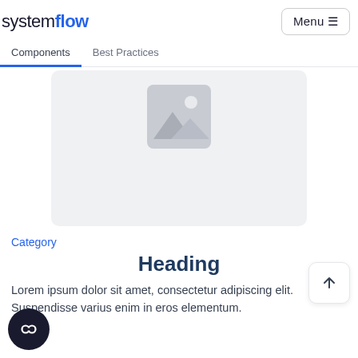systemflow  Menu
Components   Best Practices
[Figure (illustration): Gray rounded rectangle placeholder image with mountain/landscape icon in center]
Category
Heading
Lorem ipsum dolor sit amet, consectetur adipiscing elit. Suspendisse varius enim in eros elementum.